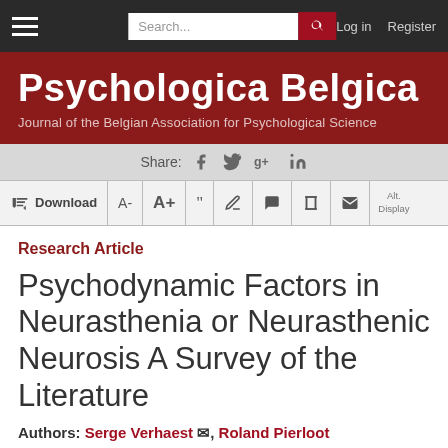Psychologica Belgica — Journal of the Belgian Association for Psychological Science
Research Article
Psychodynamic Factors in Neurasthenia or Neurasthenic Neurosis A Survey of the Literature
Authors: Serge Verhaest, Roland Pierloot